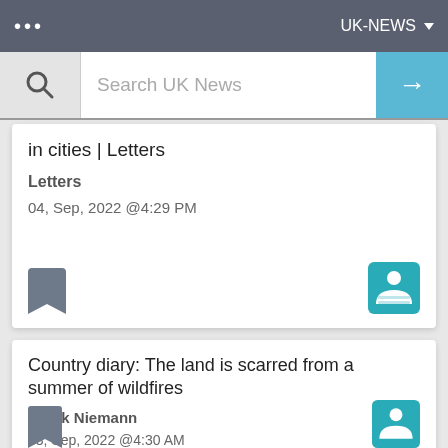UK-NEWS
Search UK News
in cities | Letters
Letters
04, Sep, 2022 @4:29 PM
Country diary: The land is scarred from a summer of wildfires
Derek Niemann
03, Sep, 2022 @4:30 AM